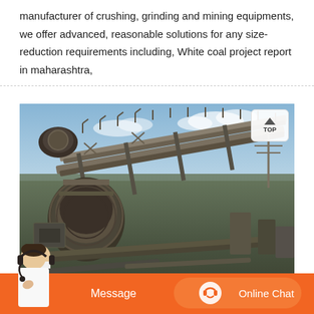manufacturer of crushing, grinding and mining equipments, we offer advanced, reasonable solutions for any size-reduction requirements including, White coal project report in maharashtra,
[Figure (photo): Large industrial mining/crushing facility with conveyor belt structures, large rotary crusher machinery, metal scaffolding and support structures against a blue sky background]
[Figure (other): Orange chat bar at bottom with customer service representative photo, Message button on left, and Online Chat button with headset icon on right]